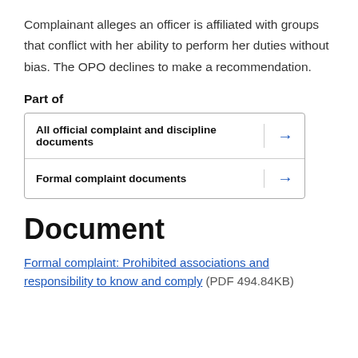Complainant alleges an officer is affiliated with groups that conflict with her ability to perform her duties without bias. The OPO declines to make a recommendation.
Part of
| All official complaint and discipline documents | → |
| Formal complaint documents | → |
Document
Formal complaint: Prohibited associations and responsibility to know and comply (PDF 494.84KB)